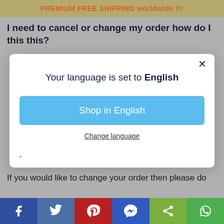PREMIUM FREE SHIPPING worldwide !!!
I need to cancel or change my order how do I this this?
[Figure (screenshot): A modal dialog box with close button (×). Contains text 'Your language is set to English', a blue button labeled 'Shop in English', and a 'Change language' link.]
If you would like to change your order then please do
[Figure (infographic): Social sharing bar with icons for Facebook, Twitter, Pinterest, Messenger, Share, and WhatsApp]